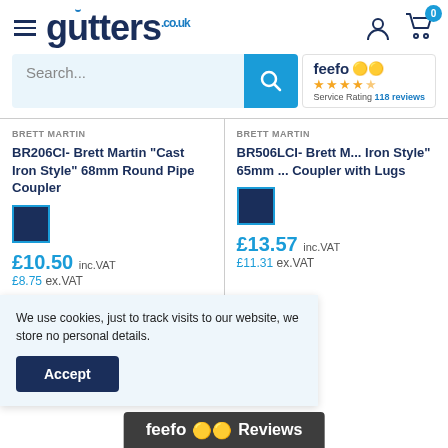gutters.co.uk
Search...
[Figure (logo): Feefo service rating logo with 4.5 stars and 118 reviews]
BRETT MARTIN
BR206CI- Brett Martin "Cast Iron Style" 68mm Round Pipe Coupler
£10.50 inc.VAT
BRETT MARTIN
BR506LCI- Brett Martin "Cast Iron Style" 65mm Coupler with Lugs
£13.57 inc.VAT
We use cookies, just to track visits to our website, we store no personal details.
Accept
[Figure (logo): Feefo Reviews badge in dark grey bar at bottom]